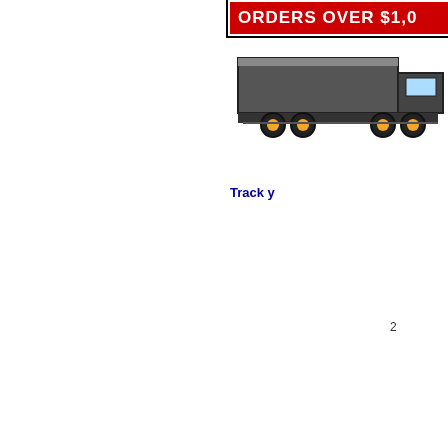[Figure (infographic): Partially visible red banner reading 'ORDERS OVER $1,0...' with a truck/trailer illustration below it, cropped at right edge of page]
Track y...
2...
Rodenimports.com... company within it. W... All merchandi...
[Figure (logo): PayPal logo button, partially visible, showing stylized 'P']